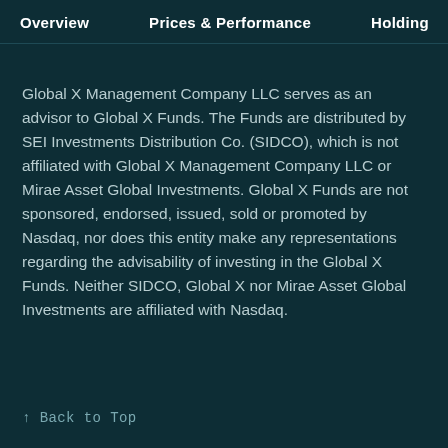Overview   Prices & Performance   Holdings
Global X Management Company LLC serves as an advisor to Global X Funds. The Funds are distributed by SEI Investments Distribution Co. (SIDCO), which is not affiliated with Global X Management Company LLC or Mirae Asset Global Investments. Global X Funds are not sponsored, endorsed, issued, sold or promoted by Nasdaq, nor does this entity make any representations regarding the advisability of investing in the Global X Funds. Neither SIDCO, Global X nor Mirae Asset Global Investments are affiliated with Nasdaq.
↑ Back to Top